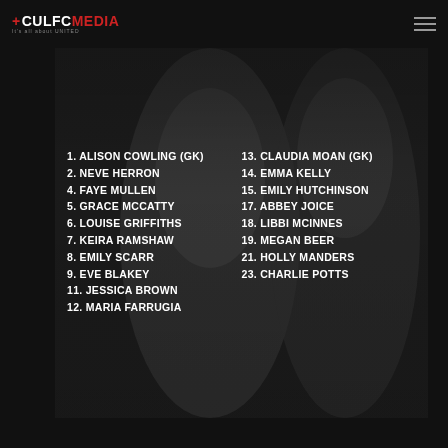+CULFC MEDIA — It's all about UNITED
[Figure (photo): Two female football players in red and white striped jerseys on a dark background]
1. ALISON COWLING (GK)
2. NEVE HERRON
4. FAYE MULLEN
5. GRACE MCCATTY
6. LOUISE GRIFFITHS
7. KEIRA RAMSHAW
8. EMILY SCARR
9. EVE BLAKEY
11. JESSICA BROWN
12. MARIA FARRUGIA
13. CLAUDIA MOAN (GK)
14. EMMA KELLY
15. EMILY HUTCHINSON
17. ABBEY JOICE
18. LIBBI MCINNES
19. MEGAN BEER
21. HOLLY MANDERS
23. CHARLIE POTTS